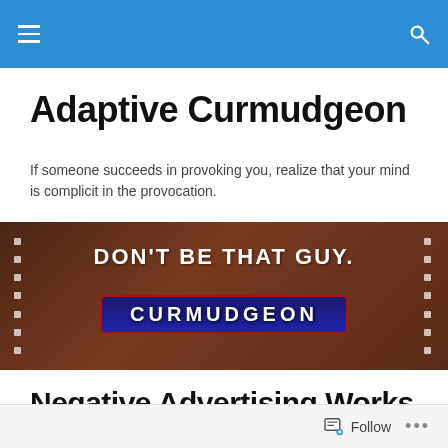Adaptive Curmudgeon — site navigation header with hamburger menu and search icon
Adaptive Curmudgeon
If someone succeeds in provoking you, realize that your mind is complicit in the provocation.
[Figure (photo): Photo of a candy bar wrapper styled like a Snickers bar, reading 'DON'T BE THAT GUY.' at the top and 'CURMUDGEON' on the bar label in the center.]
Negative Advertising Works
Posted by Adaptive Curmudgeon
Follow ...